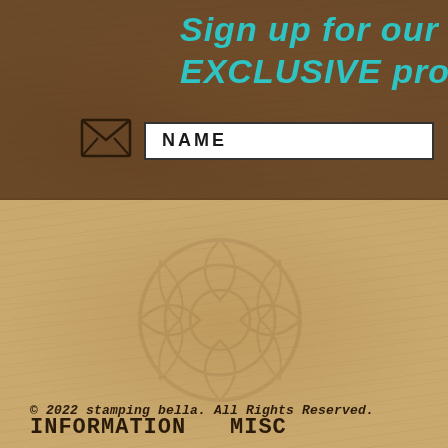Sign up for our n EXCLUSIVE prom
[Figure (other): Envelope icon for email signup]
NAME
INFORMATION
MISC
Home
Blog
About US
Shipping Policy
Tutorials
© 2022 stamping bella. All Rights Reserved.